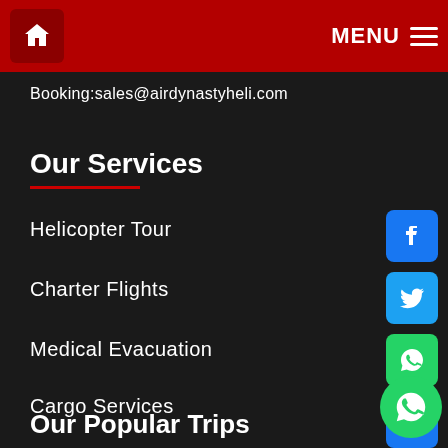Home | MENU
Booking:sales@airdynastyheli.com
Our Services
Helicopter Tour
Charter Flights
Medical Evacuation
Cargo Services
[Figure (infographic): Social media share icons column: Facebook (blue), Twitter (blue), WhatsApp (green), chain/link (blue), Telegram (blue), WeChat (green), Share label in red, WhatsApp floating action button (green circle)]
Our Popular Trips